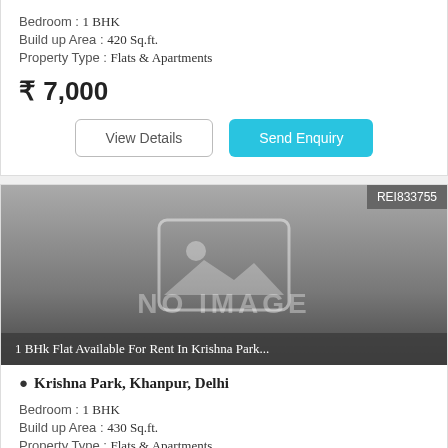Bedroom : 1 BHK
Build up Area : 420 Sq.ft.
Property Type : Flats & Apartments
₹ 7,000
View Details
Send Enquiry
REI833755
[Figure (photo): No image placeholder with landscape icon and NO IMAGE text overlay, with listing title '1 BHk Flat Available For Rent In Krishna Park...' at bottom]
Krishna Park, Khanpur, Delhi
Bedroom : 1 BHK
Build up Area : 430 Sq.ft.
Property Type : Flats & Apartments